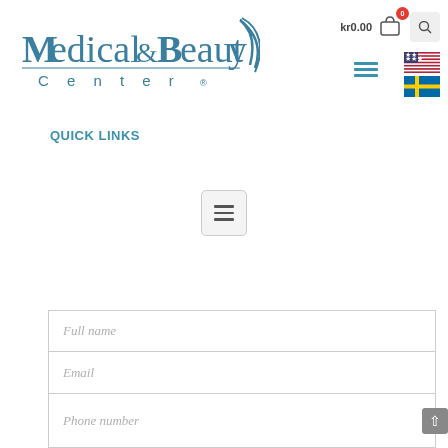[Figure (logo): Medical & Beauty Center logo with teal serif and sans-serif text and stylized check/arrow mark]
kr0.00
QUICK LINKS
[Figure (infographic): Hamburger menu button icon centered on page]
Full name
Email
Phone number